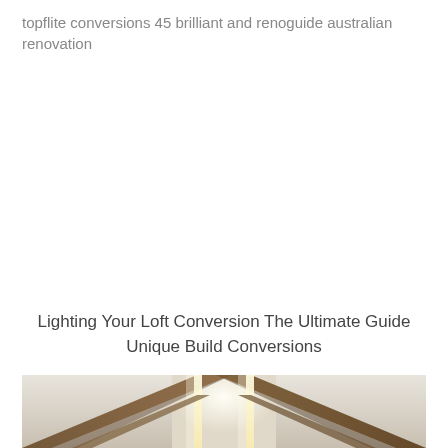topflite conversions 45 brilliant and renoguide australian renovation
Lighting Your Loft Conversion The Ultimate Guide Unique Build Conversions
[Figure (photo): Interior loft conversion photo showing exposed wooden ceiling beams with linear LED strip lighting running along the ridge, illuminating the white ceiling panels between the beams, creating a warm atmospheric glow]